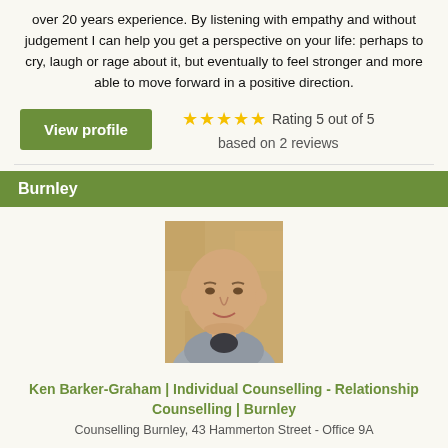over 20 years experience. By listening with empathy and without judgement I can help you get a perspective on your life: perhaps to cry, laugh or rage about it, but eventually to feel stronger and more able to move forward in a positive direction.
View profile | Rating 5 out of 5 based on 2 reviews
Burnley
[Figure (photo): Headshot photo of Ken Barker-Graham, a bald middle-aged man in a grey hoodie, against a muted orange/yellow background.]
Ken Barker-Graham | Individual Counselling - Relationship Counselling | Burnley
Counselling Burnley, 43 Hammerton Street - Office 9A